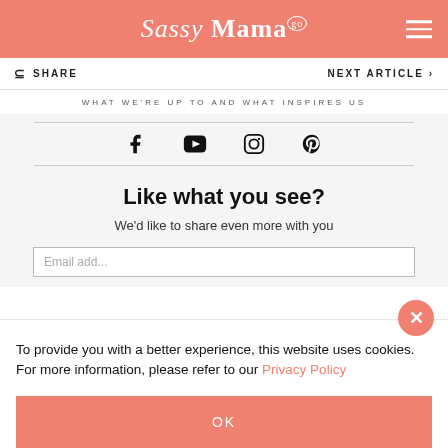Sassy Mama Go
SHARE | NEXT ARTICLE
WHAT WE'RE UP TO AND WHAT INSPIRES US
[Figure (infographic): Social media icons: Facebook, YouTube, Instagram, Pinterest]
Like what you see?
We'd like to share even more with you
To provide you with a better experience, this website uses cookies. For more information, please refer to our Privacy Policy
OK